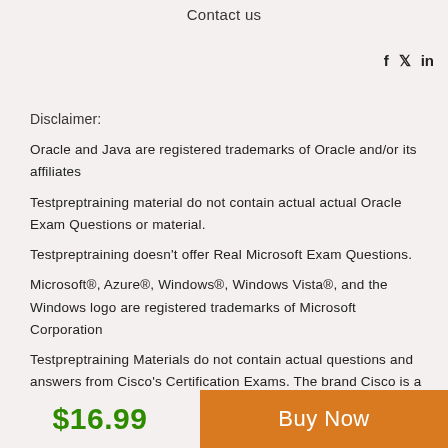Contact us
f  𝕏  in
Disclaimer:
Oracle and Java are registered trademarks of Oracle and/or its affiliates
Testpreptraining material do not contain actual actual Oracle Exam Questions or material.
Testpreptraining doesn't offer Real Microsoft Exam Questions.
Microsoft®, Azure®, Windows®, Windows Vista®, and the Windows logo are registered trademarks of Microsoft Corporation
Testpreptraining Materials do not contain actual questions and answers from Cisco's Certification Exams. The brand Cisco is a registered trademark of CISCO, Inc
Testpreptraining Materials do not contain actual questions and answers
$16.99
Buy Now